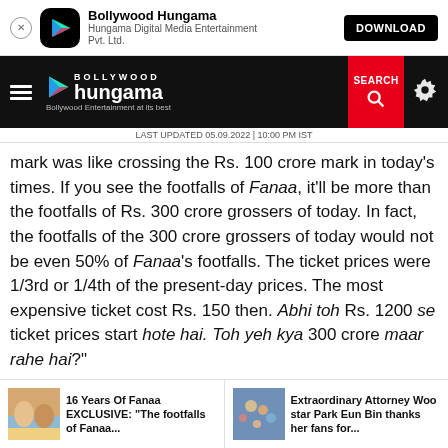[Figure (screenshot): Bollywood Hungama app install banner with close button, app icon, name, subtitle and DOWNLOAD button]
[Figure (screenshot): Bollywood Hungama navigation bar with hamburger menu, logo, SEARCH button and settings gear icon]
LAST UPDATED 05.09.2022 | 10:00 PM IST
mark was like crossing the Rs. 100 crore mark in today's times. If you see the footfalls of Fanaa, it'll be more than the footfalls of Rs. 300 crore grossers of today. In fact, the footfalls of the 300 crore grossers of today would not be even 50% of Fanaa's footfalls. The ticket prices were 1/3rd or 1/4th of the present-day prices. The most expensive ticket cost Rs. 150 then. Abhi toh Rs. 1200 se ticket prices start hote hai. Toh yeh kya 300 crore maar rahe hai?"
Kunal Kohli continued, "Footfalls are coming down. It's a wrong trend. Bhool Bhulaiyaa 2's makers have done a good
[Figure (photo): 16 Years Of Fanaa EXCLUSIVE thumbnail showing actors]
16 Years Of Fanaa EXCLUSIVE: "The footfalls of Fanaa...
[Figure (photo): Extraordinary Attorney Woo thumbnail showing crowd]
Extraordinary Attorney Woo star Park Eun Bin thanks her fans for...